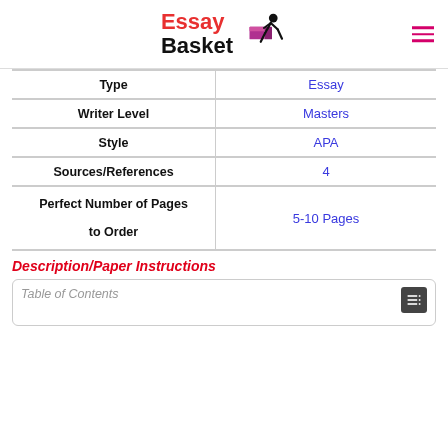Essay Basket
| Field | Value |
| --- | --- |
| Type | Essay |
| Writer Level | Masters |
| Style | APA |
| Sources/References | 4 |
| Perfect Number of Pages to Order | 5-10 Pages |
Description/Paper Instructions
Table of Contents